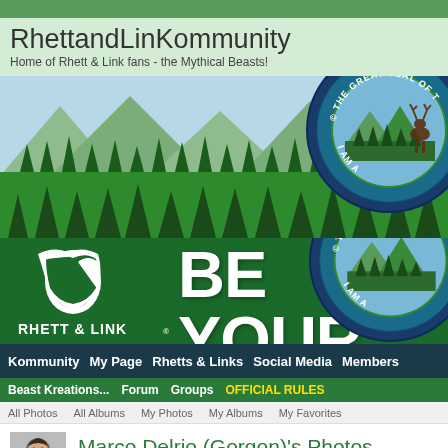[Figure (screenshot): RhettandLinKommunity website screenshot showing site header with mountain/forest banner, Rhett & Link logo, 'Be Your' text, Great Seal circular badge, navigation bars, and Marco Delrio (Gorgon)'s Photos page heading with profile thumbnail]
RhettandLinKommunity
Home of Rhett & Link fans - the Mythical Beasts!
Kommunity  My Page  Rhetts & Links  Social Media  Members
Beast Kreations...  Forum  Groups  OFFICIAL RULES
All Photos  All Albums  My Photos  My Albums  My Favorites
Marco Delrio (Gorgon)'s Photos